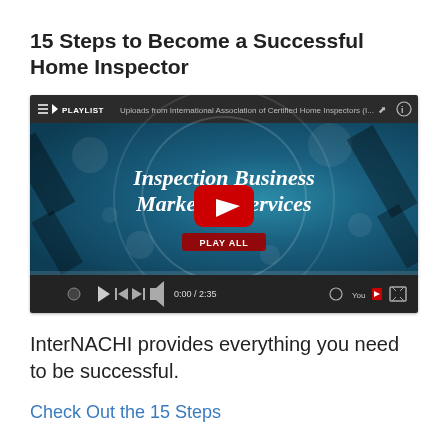15 Steps to Become a Successful Home Inspector
[Figure (screenshot): YouTube video player screenshot showing a playlist titled 'Inspection Business Marketing Services' with a red play button and 'PLAY ALL' label. Topbar reads: PLAYLIST | Uploads from International Association of Certified Home Inspectors. Time shows 0:00/2:35.]
InterNACHI provides everything you need to be successful.
Check Out the 15 Steps